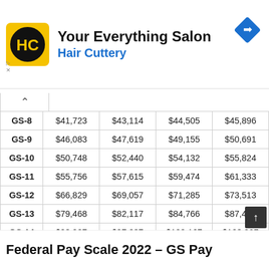[Figure (logo): Hair Cuttery advertisement banner with HC logo (yellow square with HC letters in black circle), tagline 'Your Everything Salon', and blue navigation arrow badge.]
|  |  |  |  |  |
| --- | --- | --- | --- | --- |
| GS-8 | $41,723 | $43,114 | $44,505 | $45,896 |
| GS-9 | $46,083 | $47,619 | $49,155 | $50,691 |
| GS-10 | $50,748 | $52,440 | $54,132 | $55,824 |
| GS-11 | $55,756 | $57,615 | $59,474 | $61,333 |
| GS-12 | $66,829 | $69,057 | $71,285 | $73,513 |
| GS-13 | $79,468 | $82,117 | $84,766 | $87,415 |
| GS-14 | $93,907 | $97,037 | $100,167 | $103,297 |
| GS-15 | $110,460 | $114,142 | $117,824 | $121,506 |
Federal Pay Scale 2022 – GS Pay